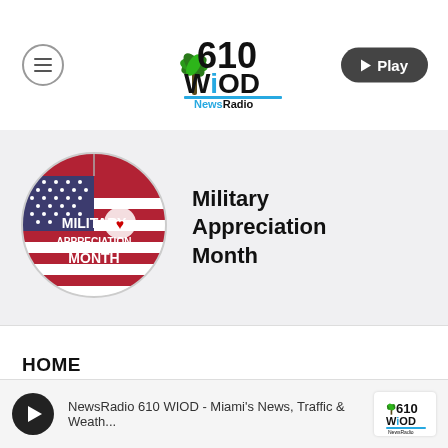[Figure (logo): 610 WIOD News Radio logo with palm tree icon]
[Figure (photo): Military Appreciation Month circular badge with dog tag and iHeart logo on US flag background]
Military Appreciation Month
HOME
NewsRadio 610 WIOD - Miami's News, Traffic & Weath...